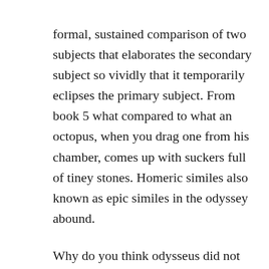formal, sustained comparison of two subjects that elaborates the secondary subject so vividly that it temporarily eclipses the primary subject. From book 5 what compared to what an octopus, when you drag one from his chamber, comes up with suckers full of tiney stones. Homeric similes also known as epic similes in the odyssey abound.
Why do you think odysseus did not tell his crew about the 6member sacrifice to scylla. Athena convinced zeus to send hermes with a message to calypso telling her that she. As